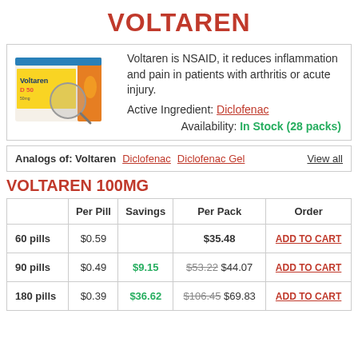VOLTAREN
[Figure (photo): Voltaren D 50mg product box photo]
Voltaren is NSAID, it reduces inflammation and pain in patients with arthritis or acute injury.
Active Ingredient: Diclofenac
Availability: In Stock (28 packs)
Analogs of: Voltaren   Diclofenac   Diclofenac Gel   View all
VOLTAREN 100MG
|  | Per Pill | Savings | Per Pack | Order |
| --- | --- | --- | --- | --- |
| 60 pills | $0.59 |  | $35.48 | ADD TO CART |
| 90 pills | $0.49 | $9.15 | $53.22 $44.07 | ADD TO CART |
| 180 pills | $0.39 | $36.62 | $106.45 $69.83 | ADD TO CART |